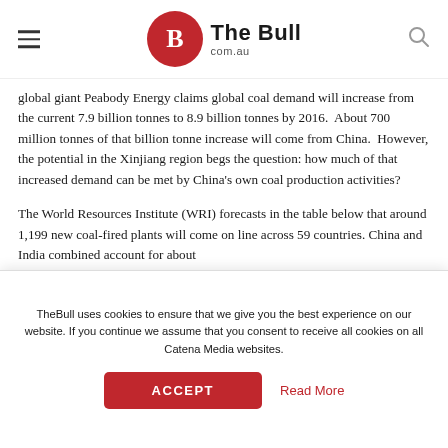The Bull com.au
global giant Peabody Energy claims global coal demand will increase from the current 7.9 billion tonnes to 8.9 billion tonnes by 2016.  About 700 million tonnes of that billion tonne increase will come from China.  However, the potential in the Xinjiang region begs the question: how much of that increased demand can be met by China's own coal production activities?
The World Resources Institute (WRI) forecasts in the table below that around 1,199 new coal-fired plants will come on line across 59 countries. China and India combined account for about 75% of that new coal capacity from new coal plants. To put
TheBull uses cookies to ensure that we give you the best experience on our website. If you continue we assume that you consent to receive all cookies on all Catena Media websites.